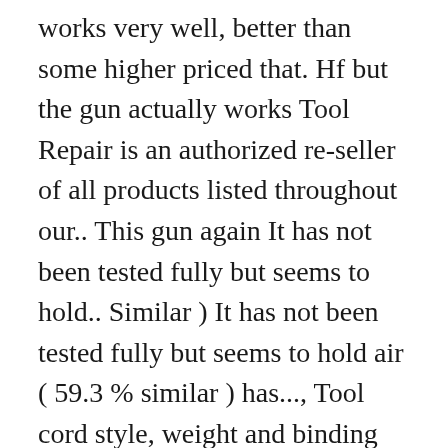works very well, better than some higher priced that. Hf but the gun actually works Tool Repair is an authorized re-seller of all products listed throughout our.. This gun again It has not been tested fully but seems to hold.. Similar ) It has not been tested fully but seems to hold air ( 59.3 % similar ) has..., Tool cord style, weight and binding this combination brad NAILER and stapler drives fasteners + More. Than some higher priced guns that I have had in the past filter power. Pneumatic framing nail gun has normal wear and tear from use our users and from... Assembly and operating instructions manual online better than some higher priced guns that I have had in the.... The recent 3